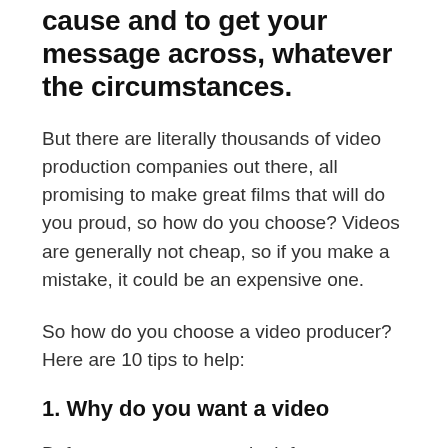cause and to get your message across, whatever the circumstances.
But there are literally thousands of video production companies out there, all promising to make great films that will do you proud, so how do you choose? Videos are generally not cheap, so if you make a mistake, it could be an expensive one.
So how do you choose a video producer? Here are 10 tips to help:
1. Why do you want a video
Before you even start to look for a